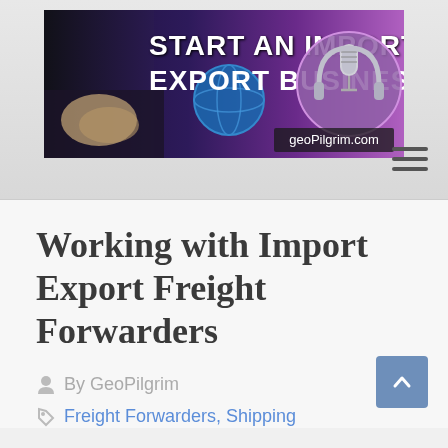[Figure (logo): Banner image for 'Start An Import Export Business' website with microphone, globe, handshake visuals and text 'geoPilgrim.com' at geopilgrim.com]
Working with Import Export Freight Forwarders
By GeoPilgrim
Freight Forwarders, Shipping